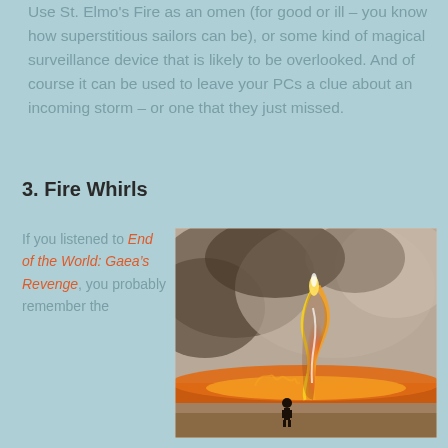Use St. Elmo's Fire as an omen (for good or ill – you know how superstitious sailors can be), or some kind of magical surveillance device that is likely to be overlooked. And of course it can be used to leave your PCs a clue about an incoming storm – or one that they just missed.
3. Fire Whirls
If you listened to End of the World: Gaea’s Revenge, you probably remember the
[Figure (photo): A dramatic photograph of a fire whirl (fire tornado) rising from a large ground fire, with a person standing in the foreground silhouetted against the flames. Dark smoke fills the background.]